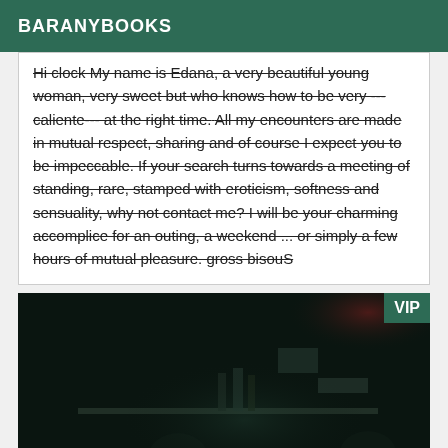BARANYBOOKS
Hi clock My name is Edana, a very beautiful young woman, very sweet but who knows how to be very ---caliente--- at the right time. All my encounters are made in mutual respect, sharing and of course I expect you to be impeccable. If your search turns towards a meeting of standing, rare, stamped with eroticism, softness and sensuality, why not contact me? I will be your charming accomplice for an outing, a weekend ... or simply a few hours of mutual pleasure. gross bisouS
[Figure (photo): Dark nighttime photo of what appears to be a bar or club interior with people visible in shadowy lighting. A VIP badge is overlaid in the top right corner.]